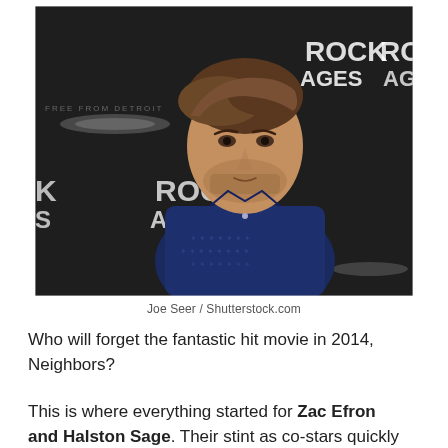[Figure (photo): A man (Zac Efron) standing in front of a Rock of Ages movie premiere backdrop, wearing a dark navy patterned shirt, looking to the side. The backdrop features 'ROCK AGES' logos repeated.]
Joe Seer / Shutterstock.com
Who will forget the fantastic hit movie in 2014, Neighbors?
This is where everything started for Zac Efron and Halston Sage. Their stint as co-stars quickly